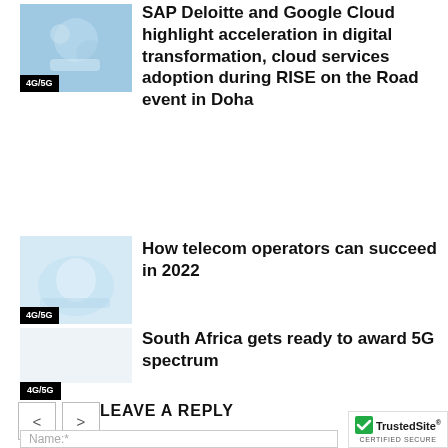[Figure (photo): Thumbnail image with blue digital/tech theme, showing hands with digital elements. Tag label: 4G/5G]
SAP Deloitte and Google Cloud highlight acceleration in digital transformation, cloud services adoption during RISE on the Road event in Doha
[Figure (photo): Thumbnail image with light blue/white abstract telecom theme. Tag label: 4G/5G]
How telecom operators can succeed in 2022
[Figure (photo): Thumbnail image placeholder, light/blank. Tag label: 4G/5G]
South Africa gets ready to award 5G spectrum
< (previous page button)
> (next page button)
LEAVE A REPLY
Name:*